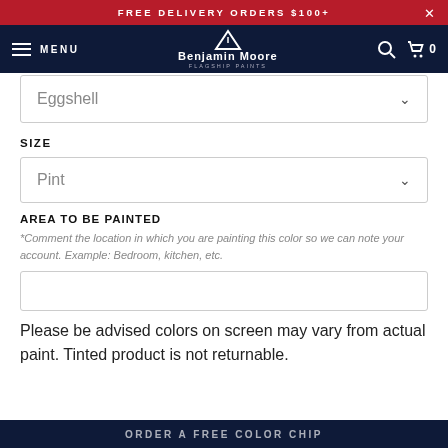FREE DELIVERY ORDERS $100+
[Figure (logo): Benjamin Moore Flagship Paints logo with navigation bar including MENU, search, and cart icons]
Eggshell
SIZE
Pint
AREA TO BE PAINTED
*Comment the location in which you are painting this color so we can note your account. Example: Bedroom, kitchen, etc.
Please be advised colors on screen may vary from actual paint. Tinted product is not returnable.